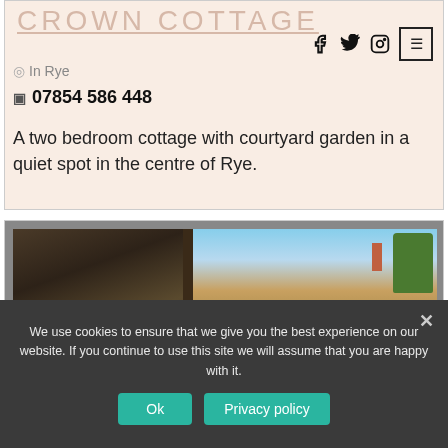CROWN COTTAGE
In Rye
07854 586 448
A two bedroom cottage with courtyard garden in a quiet spot in the centre of Rye.
[Figure (photo): Two-panel photo: left shows dark stone architecture/arched doorway, right shows rooftop with chimney and trees against blue sky]
We use cookies to ensure that we give you the best experience on our website. If you continue to use this site we will assume that you are happy with it.